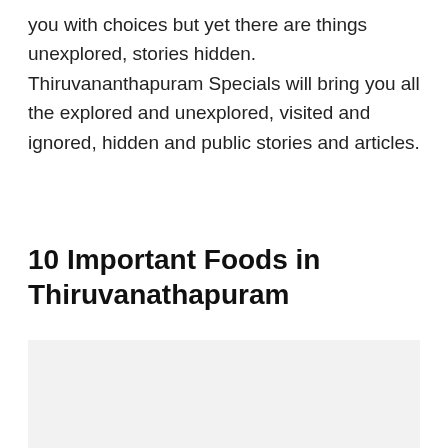you with choices but yet there are things unexplored, stories hidden. Thiruvananthapuram Specials will bring you all the explored and unexplored, visited and ignored, hidden and public stories and articles.
10 Important Foods in Thiruvanathapuram
[Figure (photo): Image placeholder with light gray background]